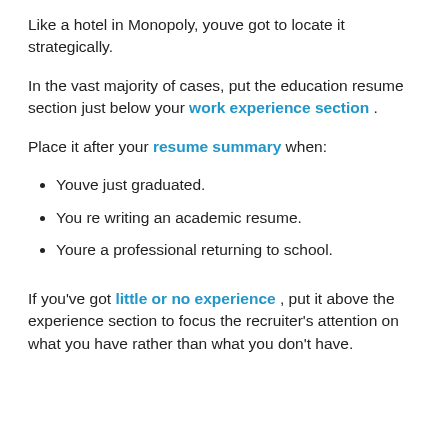Like a hotel in Monopoly, youve got to locate it strategically.
In the vast majority of cases, put the education resume section just below your work experience section .
Place it after your resume summary when:
Youve just graduated.
You re writing an academic resume.
Youre a professional returning to school.
If you've got little or no experience , put it above the experience section to focus the recruiter's attention on what you have rather than what you don't have.